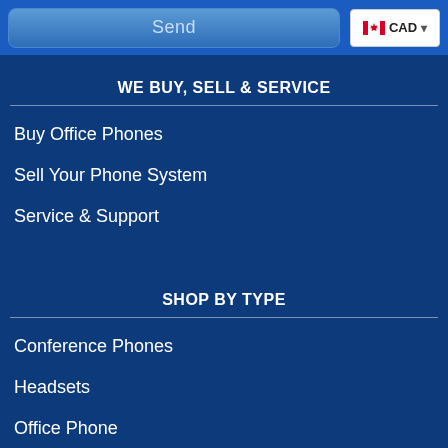[Figure (screenshot): Send button (blue gradient) and CAD currency selector (white box with Canadian flag) in a blue navigation bar]
WE BUY, SELL & SERVICE
Buy Office Phones
Sell Your Phone System
Service & Support
SHOP BY TYPE
Conference Phones
Headsets
Office Phone
Phone Equipment